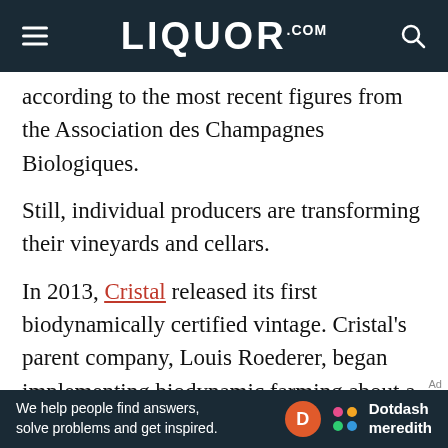LIQUOR.COM
according to the most recent figures from the Association des Champagnes Biologiques.
Still, individual producers are transforming their vineyards and cellars.
In 2013, Cristal released its first biodynamically certified vintage. Cristal’s parent company, Louis Roederer, began implementing biodynamic farming about a decade ago, but began farming everything organically in 2000. Frederic Rouzaud, the CEO of Louis Roederer, has said that “We are in awe of
[Figure (other): Dotdash Meredith advertisement banner: We help people find answers, solve problems and get inspired.]